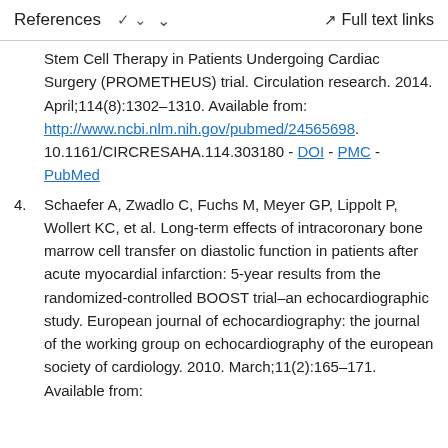References   ∨   Full text links
Stem Cell Therapy in Patients Undergoing Cardiac Surgery (PROMETHEUS) trial. Circulation research. 2014. April;114(8):1302–1310. Available from: http://www.ncbi.nlm.nih.gov/pubmed/24565698. 10.1161/CIRCRESAHA.114.303180 - DOI - PMC - PubMed
4. Schaefer A, Zwadlo C, Fuchs M, Meyer GP, Lippolt P, Wollert KC, et al. Long-term effects of intracoronary bone marrow cell transfer on diastolic function in patients after acute myocardial infarction: 5-year results from the randomized-controlled BOOST trial–an echocardiographic study. European journal of echocardiography: the journal of the working group on echocardiography of the european society of cardiology. 2010. March;11(2):165–171. Available from: